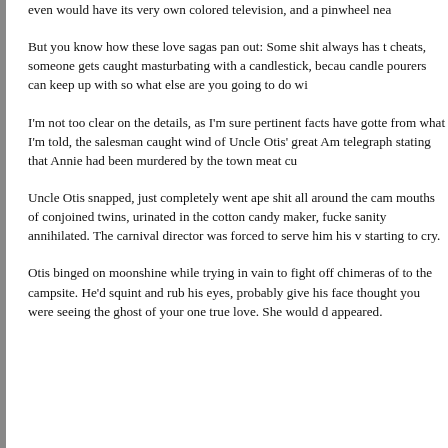even would have its very own colored television, and a pinwheel nea...
But you know how these love sagas pan out: Some shit always has to happen. Someone cheats, someone gets caught masturbating with a candlestick, because that's only as fast as candle pourers can keep up with so what else are you going to do wi...
I'm not too clear on the details, as I'm sure pertinent facts have gotte... from what I'm told, the salesman caught wind of Uncle Otis' great Am... telegraph stating that Annie had been murdered by the town meat cu...
Uncle Otis snapped, just completely went ape shit all around the cam... mouths of conjoined twins, urinated in the cotton candy maker, fucke... sanity annihilated. The carnival director was forced to serve him his v... starting to cry.
Otis binged on moonshine while trying in vain to fight off chimeras o... to the campsite. He'd squint and rub his eyes, probably give his face... thought you were seeing the ghost of your one true love. She would d... appeared.